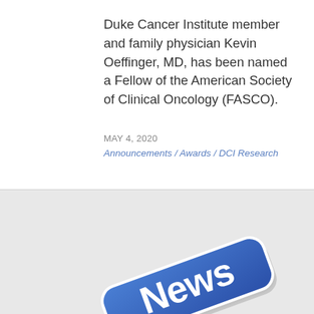Duke Cancer Institute member and family physician Kevin Oeffinger, MD, has been named a Fellow of the American Society of Clinical Oncology (FASCO).
MAY 4, 2020
Announcements / Awards / DCI Research
[Figure (illustration): Blue 3D rounded rectangular sign with white bold 'News' text, tilted at an angle, resembling a street sign or button, on a light gray background]